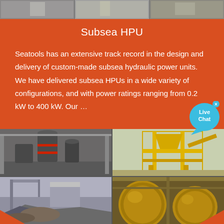[Figure (photo): Industrial machinery photos strip at top of page]
Subsea HPU
Seatools has an extensive track record in the design and delivery of custom-made subsea hydraulic power units. We have delivered subsea HPUs in a wide variety of configurations, and with power ratings ranging from 0.2 kW to 400 kW. Our …
[Figure (photo): Four industrial machinery photos in a 2x2 grid: grinding mills, yellow crane/conveyor equipment, mining site, ball mill equipment]